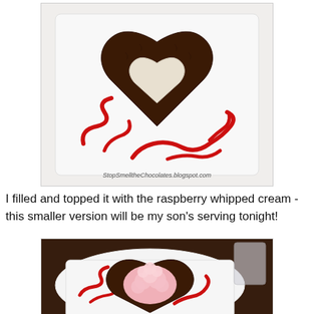[Figure (photo): Heart-shaped chocolate brownie on a white square plate with red raspberry sauce drizzled around it, viewed from above. Watermark reads StopSmelltheChocolates.blogspot.com]
I filled and topped it with the raspberry whipped cream - this smaller version will be my son's serving tonight!
[Figure (photo): Heart-shaped chocolate brownie topped with pink raspberry whipped cream on a white square plate with red sauce drizzle, viewed from above on a dark wooden table]